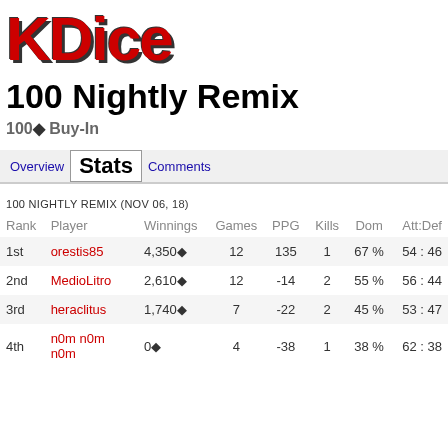[Figure (logo): KDice logo in red bold font with shadow effect]
100 Nightly Remix
100◆ Buy-In
Overview | Stats | Comments
100 NIGHTLY REMIX (NOV 06, 18)
| Rank | Player | Winnings | Games | PPG | Kills | Dom | Att:Def |
| --- | --- | --- | --- | --- | --- | --- | --- |
| 1st | orestis85 | 4,350◆ | 12 | 135 | 1 | 67 % | 54 : 46 |
| 2nd | MedioLitro | 2,610◆ | 12 | -14 | 2 | 55 % | 56 : 44 |
| 3rd | heraclitus | 1,740◆ | 7 | -22 | 2 | 45 % | 53 : 47 |
| 4th | n0m n0m n0m | 0◆ | 4 | -38 | 1 | 38 % | 62 : 38 |